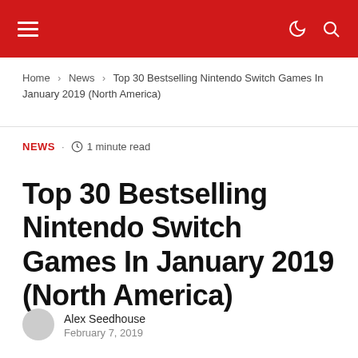Navigation header bar with hamburger menu, dark mode icon, and search icon
Home › News › Top 30 Bestselling Nintendo Switch Games In January 2019 (North America)
NEWS · 1 minute read
Top 30 Bestselling Nintendo Switch Games In January 2019 (North America)
Alex Seedhouse
February 7, 2019